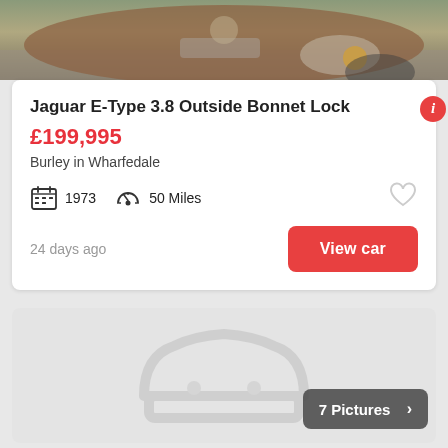[Figure (photo): Top portion of a classic Jaguar E-Type car, cropped showing the front bonnet and headlight area on a gravel surface]
Jaguar E-Type 3.8 Outside Bonnet Lock
£199,995
Burley in Wharfedale
1973   50 Miles
24 days ago
View car
[Figure (illustration): Placeholder car silhouette icon on a grey background with a '7 Pictures >' badge in the bottom right corner]